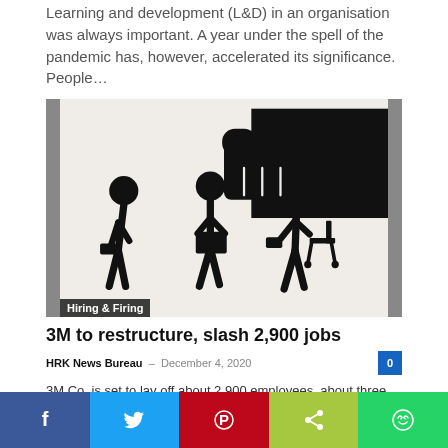Learning and development (L&D) in an organisation was always important. A year under the spell of the pandemic has, however, accelerated its significance. People…
[Figure (illustration): Illustration of stick figures being dismissed/fired: a large black hand pointing right, three stick figures walking with briefcases and a chair, with a 'Hiring & Firing' label overlay in the bottom left corner and grey side bars.]
3M to restructure, slash 2,900 jobs
HRK News Bureau  –  December 4, 2020
3M Co. is set to lay off about 2,900 employees, about three per cent of its global workforce, as part of cost-cutting measures and…
[Figure (infographic): Social share bar with five buttons: Facebook (dark blue), Twitter (light blue), Pinterest (red), Share (green), WhatsApp (bright green)]